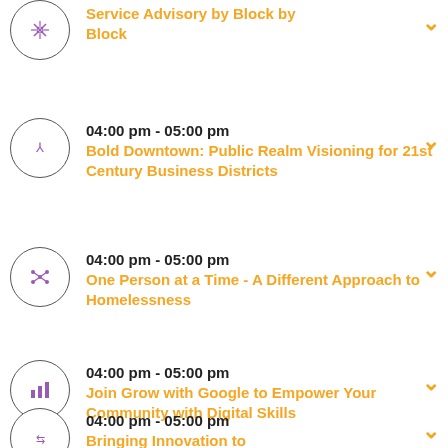Service Advisory by Block by Block
04:00 pm - 05:00 pm
Bold Downtown: Public Realm Visioning for 21st Century Business Districts
04:00 pm - 05:00 pm
One Person at a Time - A Different Approach to Homelessness
04:00 pm - 05:00 pm
Join Grow with Google to Empower Your Community with Digital Skills
04:00 pm - 05:00 pm
Bringing Innovation to